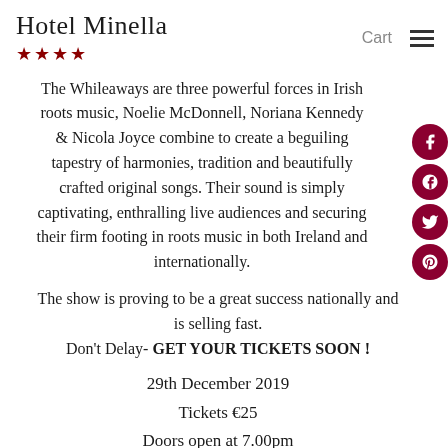Hotel Minella ★★★★
The Whileaways are three powerful forces in Irish roots music, Noelie McDonnell, Noriana Kennedy & Nicola Joyce combine to create a beguiling tapestry of harmonies, tradition and beautifully crafted original songs. Their sound is simply captivating, enthralling live audiences and securing their firm footing in roots music in both Ireland and internationally.
The show is proving to be a great success nationally and is selling fast.
Don't Delay- GET YOUR TICKETS SOON !
29th December 2019
Tickets €25
Doors open at 7.00pm
Band Onstage at 8.00pm